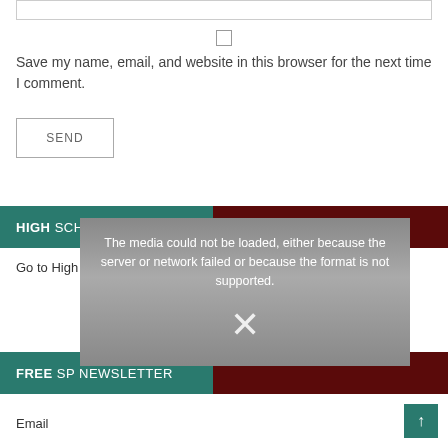Save my name, email, and website in this browser for the next time I comment.
SEND
HIGH SCHOOL SPORTS
Go to High School Sports
The media could not be loaded, either because the server or network failed or because the format is not supported.
FREE SP NEWSLETTER
Email